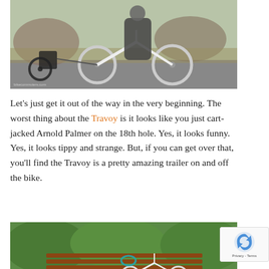[Figure (photo): A person riding a bicycle on a path, pulling a single-wheel Travoy bike trailer behind them. The scene is outdoors with trees and rocks in the background.]
Let’s just get it out of the way in the very beginning. The worst thing about the Travoy is it looks like you just cart-jacked Arnold Palmer on the 18th hole. Yes, it looks funny. Yes, it looks tippy and strange. But, if you can get over that, you’ll find the Travoy is a pretty amazing trailer on and off the bike.
[Figure (photo): A white bicycle with a Travoy trailer parked in front of a park bench surrounded by green hedges and bushes.]